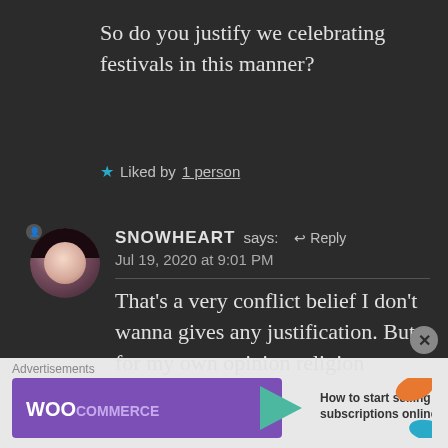So do you justify we celebrating festivals in this manner?
★ Liked by 1 person
SNOWHEART says: ↩ Reply
Jul 19, 2020 at 9:01 PM
That's a very conflict belief I don't wanna gives any justification. But for my own opinion religion cannot save
Advertisements
[Figure (screenshot): WooCommerce advertisement banner with logo and text 'How to start selling subscriptions online']